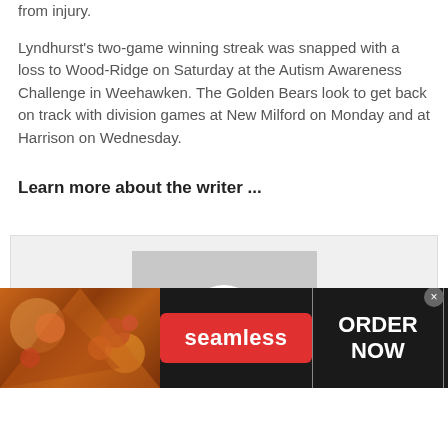from injury.
Lyndhurst's two-game winning streak was snapped with a loss to Wood-Ridge on Saturday at the Autism Awareness Challenge in Weehawken. The Golden Bears look to get back on track with division games at New Milford on Monday and at Harrison on Wednesday.
Learn more about the writer ...
[Figure (photo): Default user profile silhouette placeholder image on gray background]
[Figure (other): Seamless food ordering advertisement banner with pizza image, red Seamless button, and ORDER NOW call to action]